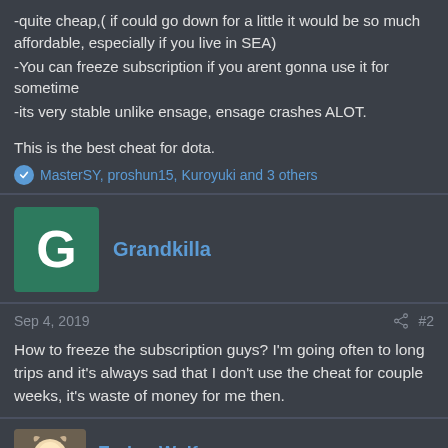-quite cheap,( if could go down for a little it would be so much affordable, especially if you live in SEA)
-You can freeze subscription if you arent gonna use it for sometime
-its very stable unlike ensage, ensage crashes ALOT.
This is the best cheat for dota.
MasterSY, proshun15, Kuroyuki and 3 others
Grandkilla
Sep 4, 2019  #2
How to freeze the subscription guys? I'm going often to long trips and it's always sad that I don't use the cheat for couple weeks, it's waste of money for me then.
Ender_Wolf Scripting Moderator Scripter Subscriber